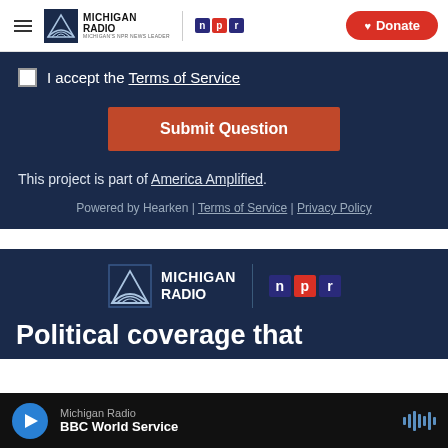Michigan Radio | NPR | Donate
I accept the Terms of Service
Submit Question
This project is part of America Amplified.
Powered by Hearken | Terms of Service | Privacy Policy
[Figure (logo): Michigan Radio NPR logo on dark blue background]
Political coverage that
Michigan Radio BBC World Service